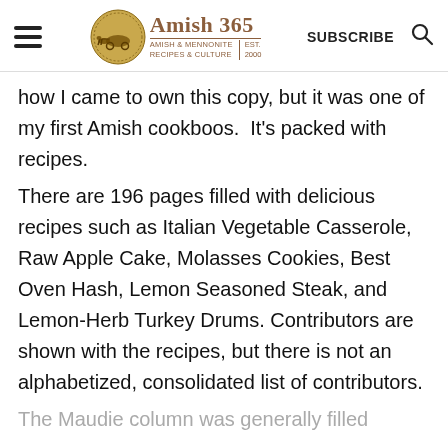Amish 365 | AMISH & MENNONITE RECIPES & CULTURE | EST. 2000 | SUBSCRIBE
how I came to own this copy, but it was one of my first Amish cookboos.  It's packed with recipes.
There are 196 pages filled with delicious recipes such as Italian Vegetable Casserole, Raw Apple Cake, Molasses Cookies, Best Oven Hash, Lemon Seasoned Steak, and Lemon-Herb Turkey Drums. Contributors are shown with the recipes, but there is not an alphabetized, consolidated list of contributors.
The Maudie column was generally filled